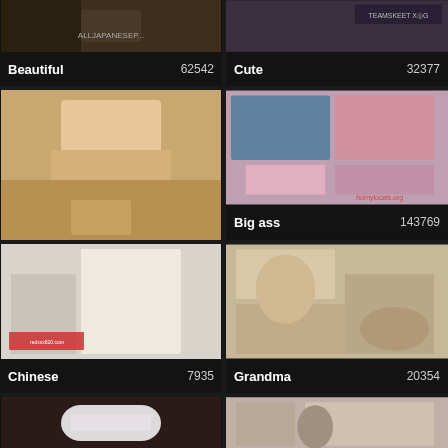[Figure (photo): Thumbnail image for Beautiful category]
Beautiful    62542
[Figure (photo): Thumbnail image for Cute category]
Cute    32377
[Figure (photo): Thumbnail image for blonde woman]
[Figure (photo): Thumbnail image for Big ass category]
Big ass    143769
[Figure (photo): Thumbnail image for Chinese category]
Chinese    7935
[Figure (photo): Thumbnail image for Grandma category]
Grandma    20354
[Figure (photo): Thumbnail image bottom left, partially visible]
[Figure (photo): Thumbnail image bottom right, partially visible]